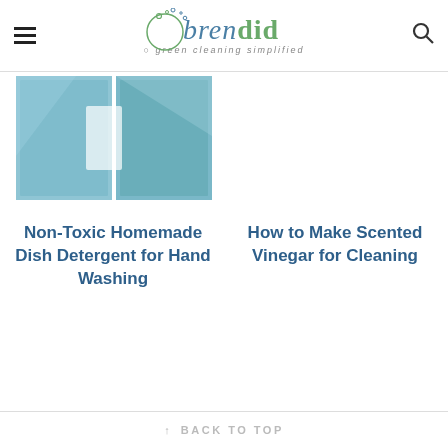brendid — green cleaning simplified
[Figure (photo): Blue textured cloth/towel fabric close-up, two panels side by side]
Non-Toxic Homemade Dish Detergent for Hand Washing
How to Make Scented Vinegar for Cleaning
↑ BACK TO TOP